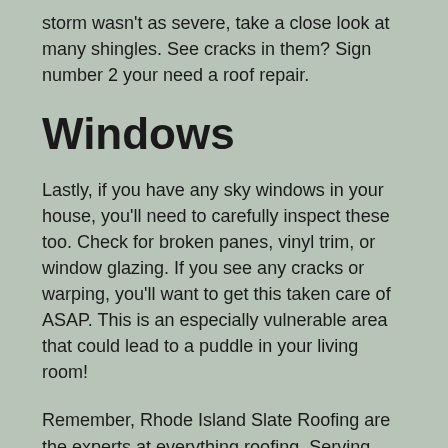storm wasn't as severe, take a close look at many shingles. See cracks in them? Sign number 2 your need a roof repair.
Windows
Lastly, if you have any sky windows in your house, you'll need to carefully inspect these too. Check for broken panes, vinyl trim, or window glazing. If you see any cracks or warping, you'll want to get this taken care of ASAP. This is an especially vulnerable area that could lead to a puddle in your living room!
Remember, Rhode Island Slate Roofing are the experts at everything roofing. Serving Rhode Island and Southern Massachusetts.